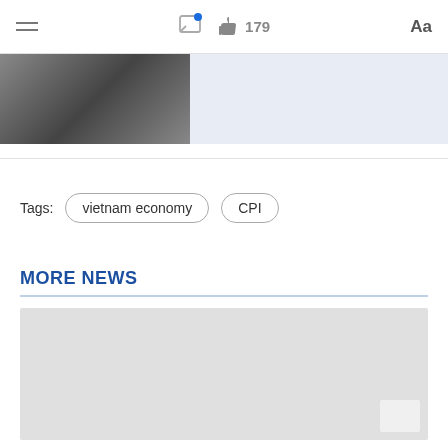Menu | Chat | 179 likes | Aa
[Figure (photo): Photo of people working in a food/bakery setting, partially visible on left; right side is a light blue background fill]
Tags: vietnam economy  CPI
MORE NEWS
[Figure (photo): Gray placeholder image block for a news article]